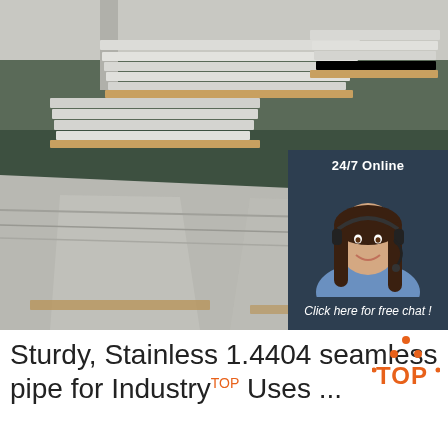[Figure (photo): Warehouse stacked stainless steel flat sheets/plates on wooden pallets in an industrial facility, viewed at an angle showing polished sheet surfaces.]
[Figure (infographic): 24/7 Online chat widget overlay showing a female customer service agent wearing a headset, smiling, with dark navy background, italic text 'Click here for free chat !' and an orange button labeled 'QUOTATION'.]
Sturdy, Stainless 1.4404 seamless pipe for Industry Uses ...
[Figure (logo): TOP logo — orange dots arranged in a triangle above the word TOP in orange letters with dot accents.]